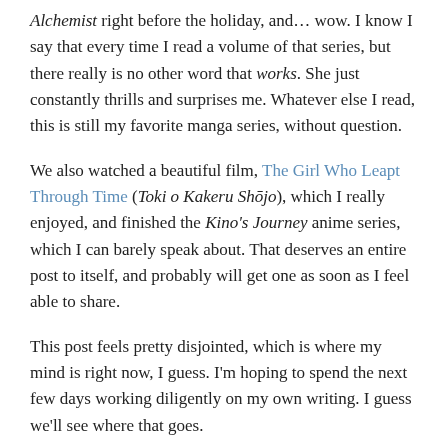Alchemist right before the holiday, and… wow. I know I say that every time I read a volume of that series, but there really is no other word that works. She just constantly thrills and surprises me. Whatever else I read, this is still my favorite manga series, without question.
We also watched a beautiful film, The Girl Who Leapt Through Time (Toki o Kakeru Shōjo), which I really enjoyed, and finished the Kino's Journey anime series, which I can barely speak about. That deserves an entire post to itself, and probably will get one as soon as I feel able to share.
This post feels pretty disjointed, which is where my mind is right now, I guess. I'm hoping to spend the next few days working diligently on my own writing. I guess we'll see where that goes.
Enjoy these days, friends, and go heavy on the eggnog. I plan to.